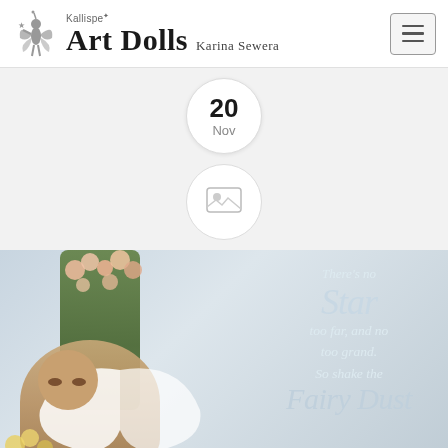Kallispe Art Dolls Karina Sewera
20
Nov
[Figure (photo): Circular image placeholder icon]
[Figure (photo): Art doll fairy with white wings, flowers and vines background with quote text: There's no Star too far, and no too grand. So shake the Fairy Dust]